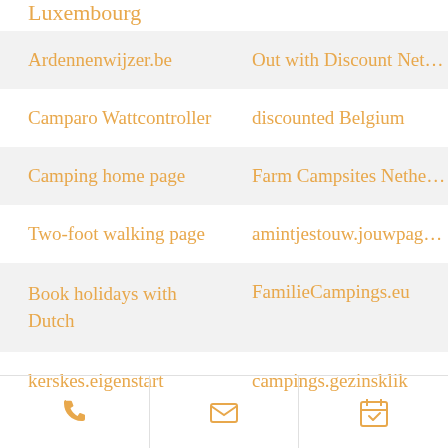Luxembourg
Ardennenwijzer.be
Out with Discount Ne...
Camparo Wattcontroller
discounted Belgium
Camping home page
Farm Campsites Nethe...
Two-foot walking page
amintjestouw.jouwpag...
Book holidays with Dutch
FamilieCampings.eu
kerskes.eigenstart
campings.gezinsklik
[Figure (infographic): Bottom navigation bar with three icons: phone, envelope/email, and calendar with checkmark]